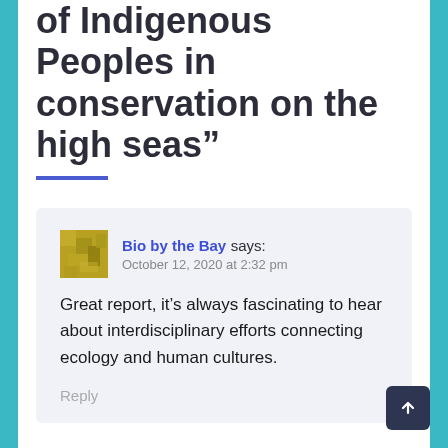of Indigenous Peoples in conservation on the high seas”
Bio by the Bay says:
October 12, 2020 at 2:32 pm

Great report, it’s always fascinating to hear about interdisciplinary efforts connecting ecology and human cultures.

Reply